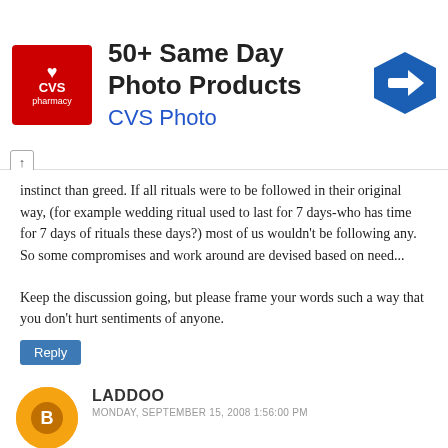[Figure (other): CVS Pharmacy advertisement banner: '50+ Same Day Photo Products' and 'CVS Photo' with CVS logo and navigation arrow icon]
instinct than greed. If all rituals were to be followed in their original way, (for example wedding ritual used to last for 7 days-who has time for 7 days of rituals these days?) most of us wouldn't be following any. So some compromises and work around are devised based on need...
Keep the discussion going, but please frame your words such a way that you don't hurt sentiments of anyone.
Reply
LADDOO
MONDAY, SEPTEMBER 15, 2008 1:56:00 PM
I too don't know the reason!
Also to add, in these temples, women and even young girls are not allowed in their salwars(as they are similar to pants?). They are asked to change into sarees or skirts!